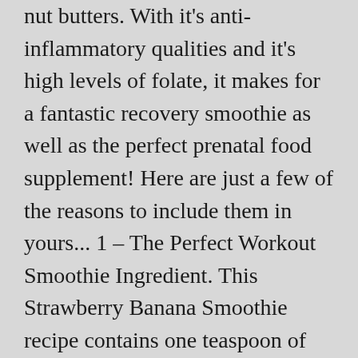nut butters. With it's anti-inflammatory qualities and it's high levels of folate, it makes for a fantastic recovery smoothie as well as the perfect prenatal food supplement! Here are just a few of the reasons to include them in yours... 1 – The Perfect Workout Smoothie Ingredient. This Strawberry Banana Smoothie recipe contains one teaspoon of ground flaxseed. I'm a California girl living in Florida. Banana Cacao Smoothie Benefits. Avocado is one of my favorite smoothie additions as evidenced by the growing number of avocado smoothie recipes on my site ... A simple 3-ingredient recipe that's so quick and easy to make. For instance, digestion and metabolism support are papaya banana smoothie benefits